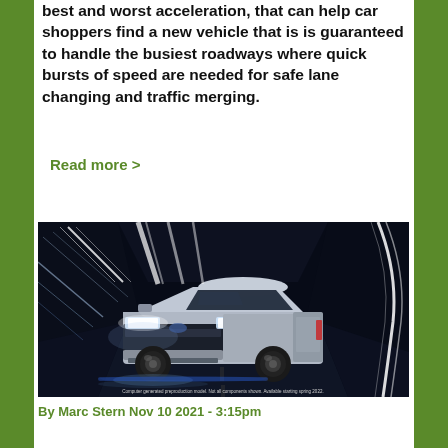best and worst acceleration, that can help car shoppers find a new vehicle that is is guaranteed to handle the busiest roadways where quick bursts of speed are needed for safe lane changing and traffic merging.
Read more >
[Figure (photo): A Ford F-150 Lightning electric pickup truck photographed in a dark tunnel with dramatic blue lighting and light trails. Bottom caption reads: Computer generated preproduction model. Not all components shown. Available starting spring 2022.]
By Marc Stern Nov 10 2021 - 3:15pm